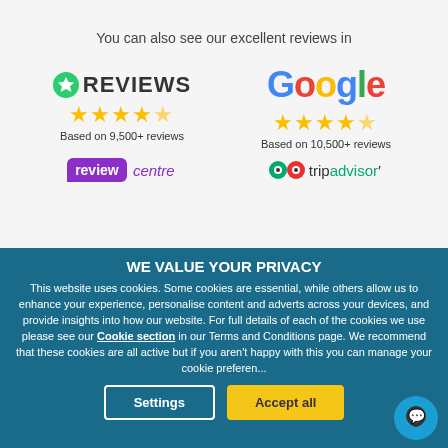You can also see our excellent reviews in
[Figure (logo): Reviews.io logo with green star icon and 4.5 star rating. Based on 9,500+ reviews]
[Figure (logo): Google logo with 4.5 star rating. Based on 10,500+ reviews]
[Figure (logo): Review Centre logo - purple badge with 'review' text and 'centre' in purple italic]
[Figure (logo): TripAdvisor logo with owl icons]
WE VALUE YOUR PRIVACY
This website uses cookies. Some cookies are essential, while others allow us to enhance your experience, personalise content and adverts across your devices, and provide insights into how our website. For full details of each of the cookies we use please see our Cookie section in our Terms and Conditions page. We recommend that these cookies are all active but if you aren't happy with this you can manage your cookie preferences.